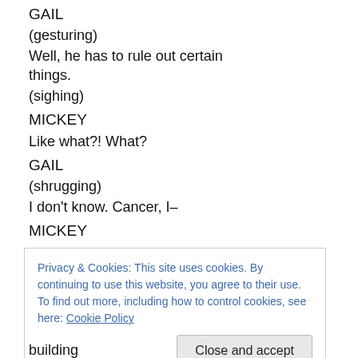GAIL
(gesturing)
Well, he has to rule out certain things.
(sighing)
MICKEY
Like what?! What?
GAIL
(shrugging)
I don't know. Cancer, I–
MICKEY
Privacy & Cookies: This site uses cookies. By continuing to use this website, you agree to their use. To find out more, including how to control cookies, see here: Cookie Policy    Close and accept
building